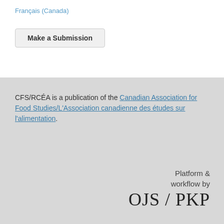Français (Canada)
Make a Submission
CFS/RCÉA is a publication of the Canadian Association for Food Studies/L'Association canadienne des études sur l'alimentation.
Platform & workflow by OJS / PKP